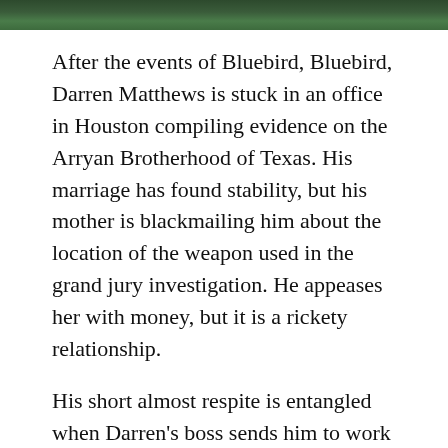[Figure (photo): Dark green foliage image strip at top of page]
After the events of Bluebird, Bluebird, Darren Matthews is stuck in an office in Houston compiling evidence on the Arryan Brotherhood of Texas. His marriage has found stability, but his mother is blackmailing him about the location of the weapon used in the grand jury investigation. He appeases her with money, but it is a rickety relationship.
His short almost respite is entangled when Darren's boss sends him to work a disappearance case in East Texas, close to the Louisiana border. Sure they want to find this young boy, but the Rangers would like to use this case as leverage to get info out of the Arryan Brotherhood, further enabling them to...